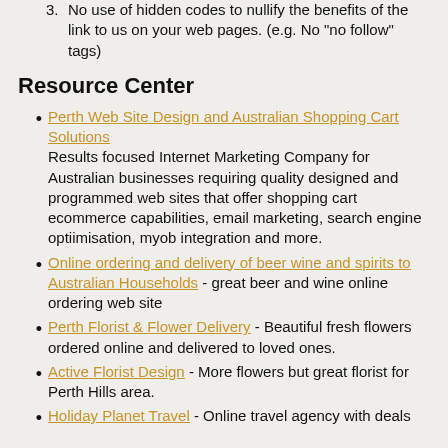No use of hidden codes to nullify the benefits of the link to us on your web pages. (e.g. No "no follow" tags)
Resource Center
Perth Web Site Design and Australian Shopping Cart Solutions - Results focused Internet Marketing Company for Australian businesses requiring quality designed and programmed web sites that offer shopping cart ecommerce capabilities, email marketing, search engine optiimisation, myob integration and more.
Online ordering and delivery of beer wine and spirits to Australian Households - great beer and wine online ordering web site
Perth Florist & Flower Delivery - Beautiful fresh flowers ordered online and delivered to loved ones.
Active Florist Design - More flowers but great florist for Perth Hills area.
Holiday Planet Travel - Online travel agency with deals